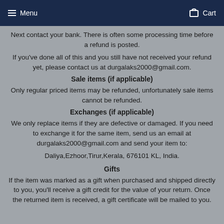Menu  Cart
Next contact your bank. There is often some processing time before a refund is posted.
If you've done all of this and you still have not received your refund yet, please contact us at durgalaks2000@gmail.com.
Sale items (if applicable)
Only regular priced items may be refunded, unfortunately sale items cannot be refunded.
Exchanges (if applicable)
We only replace items if they are defective or damaged. If you need to exchange it for the same item, send us an email at durgalaks2000@gmail.com and send your item to:
Daliya,Ezhoor,Tirur,Kerala, 676101 KL, India.
Gifts
If the item was marked as a gift when purchased and shipped directly to you, you'll receive a gift credit for the value of your return. Once the returned item is received, a gift certificate will be mailed to you.